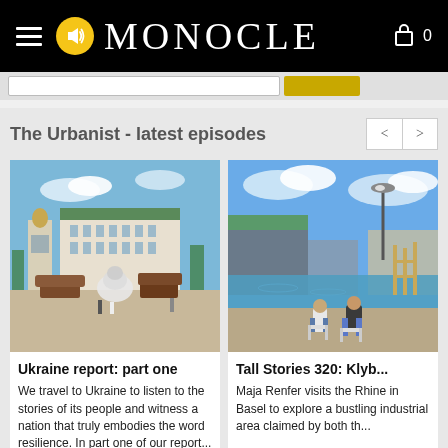MONOCLE
The Urbanist - latest episodes
[Figure (photo): Kyiv city square with sandbag-covered monument, destroyed military vehicles on display, and a large neoclassical building with a bell tower in the background]
Ukraine report: part one
We travel to Ukraine to listen to the stories of its people and witness a nation that truly embodies the word resilience. In part one of our report...
[Figure (photo): Two people sitting in chairs on a waterfront dock in Basel, Rhine river visible, industrial cranes and buildings in background]
Tall Stories 320: Klyb...
Maja Renfer visits the Rhine in Basel to explore a bustling industrial area claimed by both the...